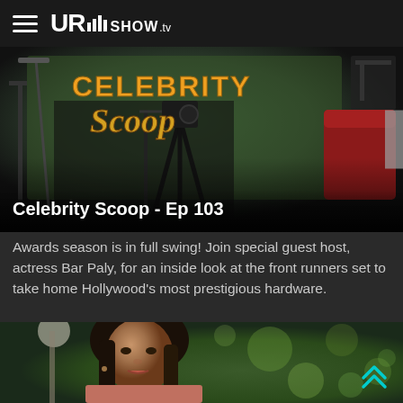URshow.tv
[Figure (screenshot): Celebrity Scoop TV show stage with yellow and orange stylized text logo 'Celebrity Scoop' on a green screen background with camera equipment and red desk visible]
Celebrity Scoop - Ep 103
Awards season is in full swing! Join special guest host, actress Bar Paly, for an inside look at the front runners set to take home Hollywood's most prestigious hardware.
[Figure (photo): Woman with dark hair looking at camera, outdoors with blurred green background]